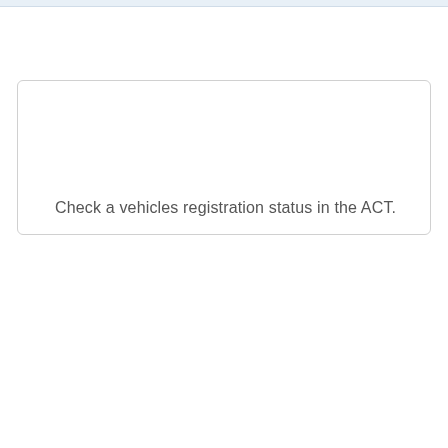Check a vehicles registration status in the ACT.